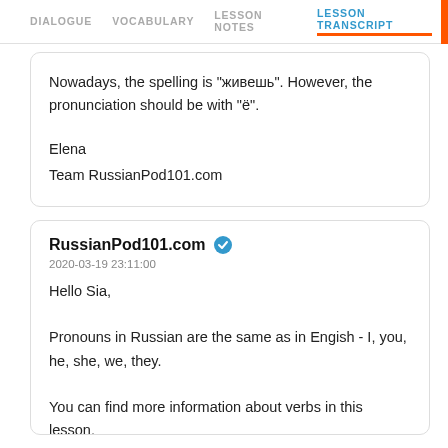DIALOGUE | VOCABULARY | LESSON NOTES | LESSON TRANSCRIPT
Nowadays, the spelling is "живешь". However, the pronunciation should be with "ё".

Elena
Team RussianPod101.com
RussianPod101.com ✓ 2020-03-19 23:11:00

Hello Sia,

Pronouns in Russian are the same as in Engish - I, you, he, she, we, they.

You can find more information about verbs in this lesson.